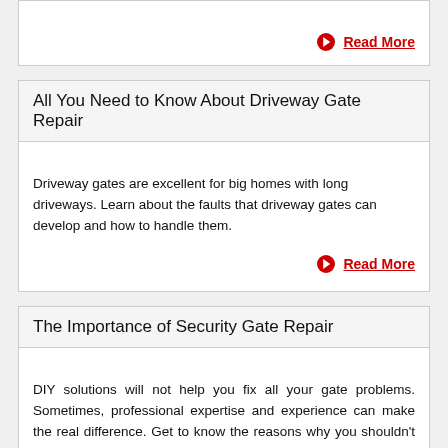Read More
All You Need to Know About Driveway Gate Repair
Driveway gates are excellent for big homes with long driveways. Learn about the faults that driveway gates can develop and how to handle them.
Read More
The Importance of Security Gate Repair
DIY solutions will not help you fix all your gate problems. Sometimes, professional expertise and experience can make the real difference. Get to know the reasons why you shouldn't hesitate to hire gate repair experts.